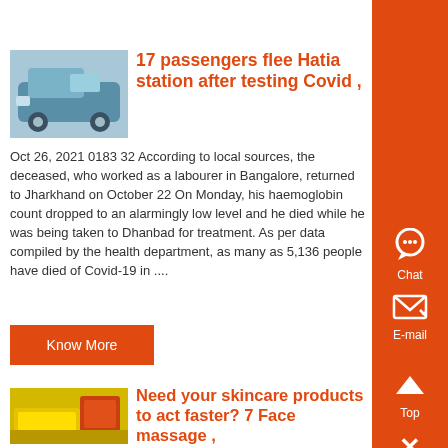[Figure (photo): Thumbnail image of a blue/teal vehicle or machine]
17 passengers flee Hatia station after testing Covid ,
Oct 26, 2021 0183 32 According to local sources, the deceased, who worked as a labourer in Bangalore, returned to Jharkhand on October 22 On Monday, his haemoglobin count dropped to an alarmingly low level and he died while he was being taken to Dhanbad for treatment. As per data compiled by the health department, as many as 5,136 people have died of Covid-19 in ....
Know More
[Figure (photo): Thumbnail image of a yellow/red skincare or industrial product]
Need your skincare products to act faster? 7 Face massage ,
Jul 09, 2021 0183 32 CBI team recreates crime scene as it probes hit-and-run death case of Jharkhand judge , products widely available that do all these things , with the smooth end of the rose quartz stone, and ....